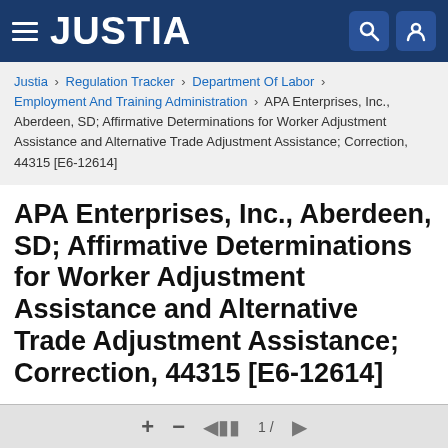JUSTIA
Justia › Regulation Tracker › Department Of Labor › Employment And Training Administration › APA Enterprises, Inc., Aberdeen, SD; Affirmative Determinations for Worker Adjustment Assistance and Alternative Trade Adjustment Assistance; Correction, 44315 [E6-12614]
APA Enterprises, Inc., Aberdeen, SD; Affirmative Determinations for Worker Adjustment Assistance and Alternative Trade Adjustment Assistance; Correction, 44315 [E6-12614]
Download as PDF